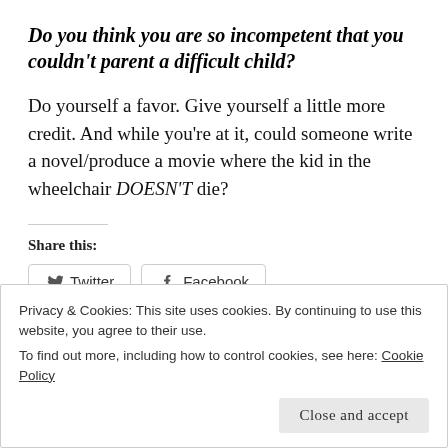Do you think you are so incompetent that you couldn't parent a difficult child?
Do yourself a favor.  Give yourself a little more credit.  And while you're at it, could someone write a novel/produce a movie where the kid in the wheelchair DOESN'T die?
Share this:
[Figure (other): Twitter and Facebook share buttons]
Privacy & Cookies: This site uses cookies. By continuing to use this website, you agree to their use. To find out more, including how to control cookies, see here: Cookie Policy
Close and accept